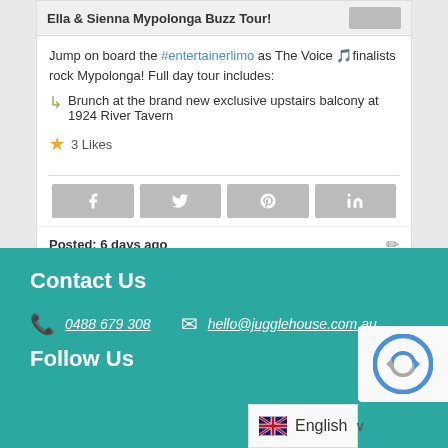Ella & Sienna Mypolonga Buzz Tour!
Jump on board the #entertainerlimo as The Voice 🎵finalists rock Mypolonga! Full day tour includes:
Brunch at the brand new exclusive upstairs balcony at 1924 River Tavern
3 Likes
Posted: 6 days ago
Contact Us
0488 679 308
hello@jugglehouse.com.au
Follow Us
English